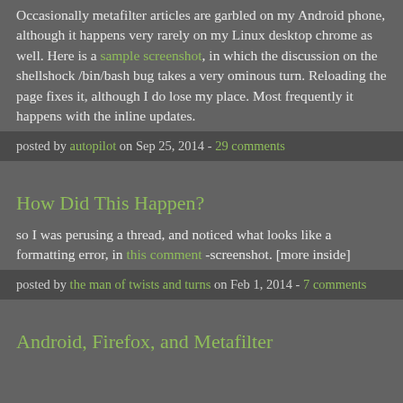Occasionally metafilter articles are garbled on my Android phone, although it happens very rarely on my Linux desktop chrome as well. Here is a sample screenshot, in which the discussion on the shellshock /bin/bash bug takes a very ominous turn. Reloading the page fixes it, although I do lose my place. Most frequently it happens with the inline updates.
posted by autopilot on Sep 25, 2014 - 29 comments
How Did This Happen?
so I was perusing a thread, and noticed what looks like a formatting error, in this comment -screenshot. [more inside]
posted by the man of twists and turns on Feb 1, 2014 - 7 comments
Android, Firefox, and Metafilter